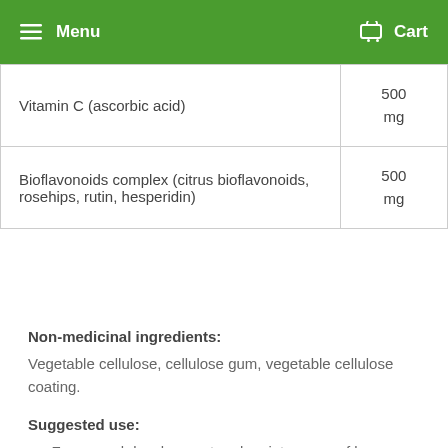Menu   Cart
| Ingredient | Amount |
| --- | --- |
| Vitamin C (ascorbic acid) | 500 mg |
| Bioflavonoids complex (citrus bioflavonoids, rosehips, rutin, hesperidin) | 500 mg |
Non-medicinal ingredients:
Vegetable cellulose, cellulose gum, vegetable cellulose coating.
Suggested use:
For normal development and maintenance of bones, cartilage, teeth, and gums.
Advanced info: